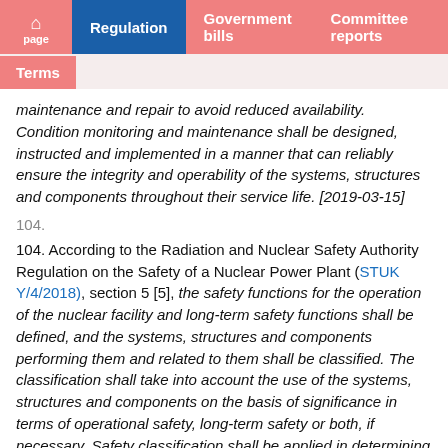page | Regulation | Government bills | Committee reports | Terms
maintenance and repair to avoid reduced availability. Condition monitoring and maintenance shall be designed, instructed and implemented in a manner that can reliably ensure the integrity and operability of the systems, structures and components throughout their service life. [2019-03-15]
104.
104. According to the Radiation and Nuclear Safety Authority Regulation on the Safety of a Nuclear Power Plant (STUK Y/4/2018), section 5 [5], the safety functions for the operation of the nuclear facility and long-term safety functions shall be defined, and the systems, structures and components performing them and related to them shall be classified. The classification shall take into account the use of the systems, structures and components on the basis of significance in terms of operational safety, long-term safety or both, if necessary. Safety classification shall be applied in determining the quality requirements for systems, structures and